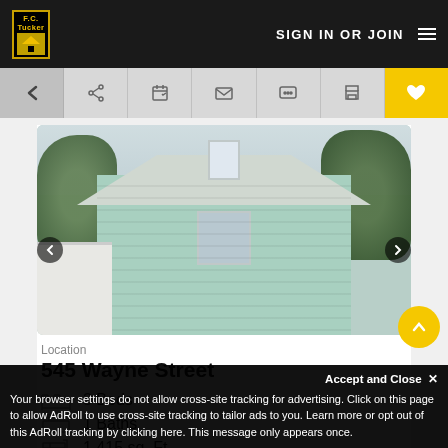F.C. Tucker | SIGN IN OR JOIN
[Figure (photo): Exterior photo of a green/mint colored two-story house with white trim, surrounded by trees]
Location
545 Wayne Street
3 Beds
1 Baths
1,415 sq. Ft
Accept and Close ✕
Your browser settings do not allow cross-site tracking for advertising. Click on this page to allow AdRoll to use cross-site tracking to tailor ads to you. Learn more or opt out of this AdRoll tracking by clicking here. This message only appears once.